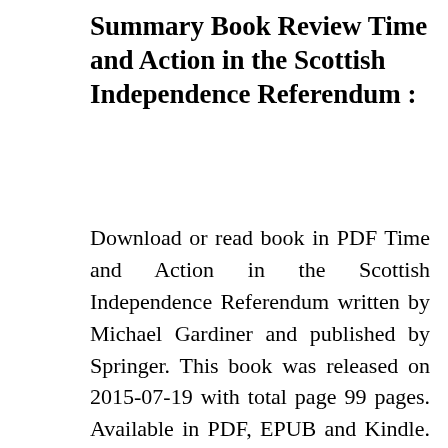Summary Book Review Time and Action in the Scottish Independence Referendum :
Download or read book in PDF Time and Action in the Scottish Independence Referendum written by Michael Gardiner and published by Springer. This book was released on 2015-07-19 with total page 99 pages. Available in PDF, EPUB and Kindle. Book excerpt: This book describes the recent Scottish independence referendum as the latest incarnation of a contest between two times on one hand, an ideally continuous time beyond determination underpinning financial sovereignty, on the